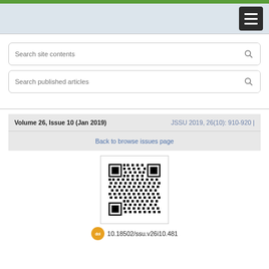[Figure (screenshot): Website navigation bar with hamburger menu button on dark blue-grey background]
Search site contents
Search published articles
Volume 26, Issue 10 (Jan 2019)   JSSU 2019, 26(10): 910-920 |
Back to browse issues page
[Figure (other): QR code for article with DOI 10.18502/ssu.v26i10.481]
10.18502/ssu.v26i10.481